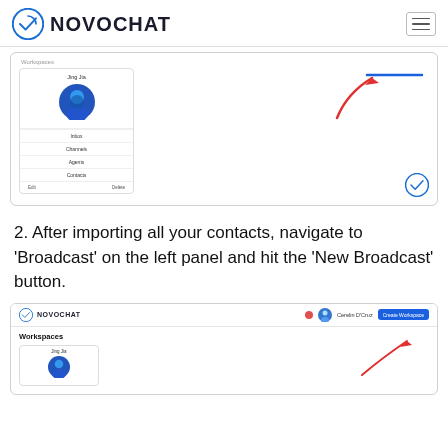NOVOCHAT
[Figure (screenshot): Screenshot of Novochat workspace interface showing a user card with avatar (Jing Jia), menu items (Inbox, Channels, Agents, Contacts), and a red arrow pointing to top-right with a blue line. Novochat icon in bottom-right corner.]
2. After importing all your contacts, navigate to 'Broadcast' on the left panel and hit the 'New Broadcast' button.
[Figure (screenshot): Screenshot of Novochat app showing header with logo, pin icon, user avatar, username (Cerelin D'Cruz), and a blue 'Create Workspace' button. Left panel shows 'Workspaces' with a user card (Jing Jia) and avatar. Red arrow points to the Create Workspace button.]